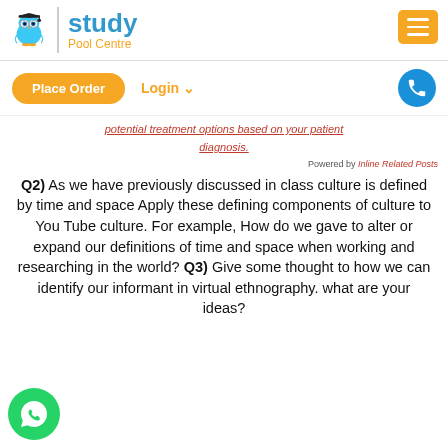[Figure (logo): Study Pool Centre logo with owl mascot and brand name]
[Figure (screenshot): Navigation bar with Place Order button, Login dropdown, and phone button]
potential treatment options based on your patient diagnosis.
Powered by Inline Related Posts
Q2) As we have previously discussed in class culture is defined by time and space Apply these defining components of culture to You Tube culture. For example, How do we gave to alter or expand our definitions of time and space when working and researching in the world? Q3) Give some thought to how we can identify our informant in virtual ethnography. what are your ideas?
[Figure (logo): WhatsApp floating button icon]